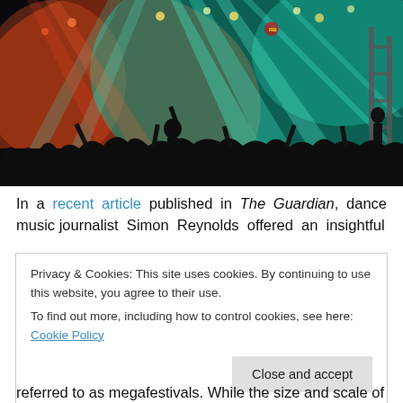[Figure (photo): Concert photo showing a crowd with raised hands silhouetted against colorful stage lights — teal/cyan and red/orange beams crossing overhead, with scaffolding visible on the right. A Red Bull logo visible in the background.]
In a recent article published in The Guardian, dance music journalist Simon Reynolds offered an insightful
Privacy & Cookies: This site uses cookies. By continuing to use this website, you agree to their use.
To find out more, including how to control cookies, see here: Cookie Policy
Close and accept
referred to as megafestivals. While the size and scale of